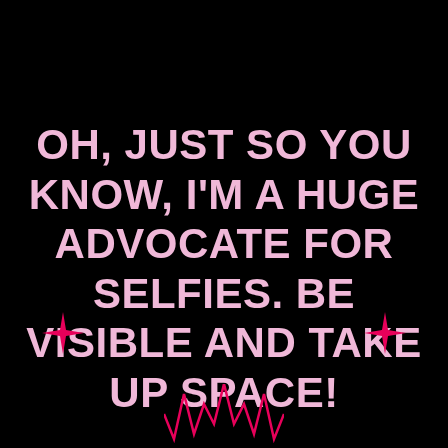OH, JUST SO YOU KNOW, I'M A HUGE ADVOCATE FOR SELFIES. BE VISIBLE AND TAKE UP SPACE!
[Figure (illustration): Pink star/sparkle icon on the left side near the bottom of the black background]